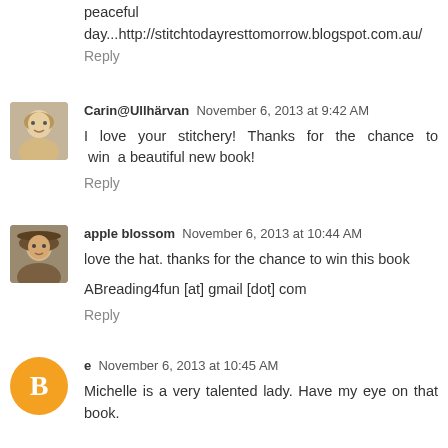peaceful
day...http://stitchtodayresttomorrow.blogspot.com.au/
Reply
Carin@Ullhärvan  November 6, 2013 at 9:42 AM
I love your stitchery! Thanks for the chance to win a beautiful new book!
Reply
apple blossom  November 6, 2013 at 10:44 AM
love the hat. thanks for the chance to win this book
ABreading4fun [at] gmail [dot] com
Reply
e  November 6, 2013 at 10:45 AM
Michelle is a very talented lady. Have my eye on that book.